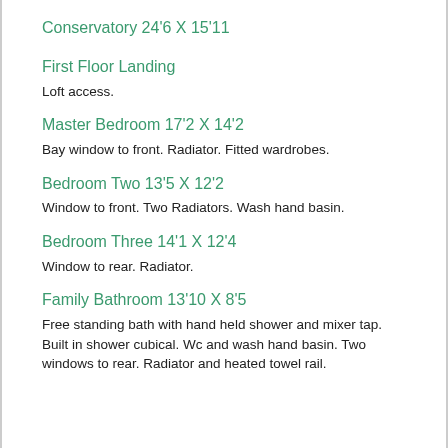Conservatory 24'6 X 15'11
First Floor Landing
Loft access.
Master Bedroom 17'2 X 14'2
Bay window to front. Radiator. Fitted wardrobes.
Bedroom Two 13'5 X 12'2
Window to front. Two Radiators. Wash hand basin.
Bedroom Three 14'1 X 12'4
Window to rear. Radiator.
Family Bathroom 13'10 X 8'5
Free standing bath with hand held shower and mixer tap. Built in shower cubical. Wc and wash hand basin. Two windows to rear. Radiator and heated towel rail.